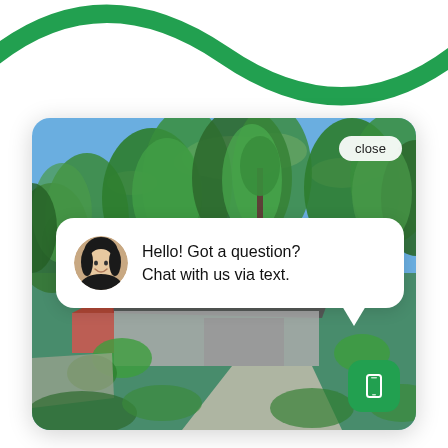[Figure (illustration): Green swoosh arc decorative element at top of page]
[Figure (screenshot): Screenshot of a home inspection or insurance app showing an aerial view of a house with trees, a chat popup saying 'Hello! Got a question? Chat with us via text.' with a close button and a green phone/text button in the bottom right corner]